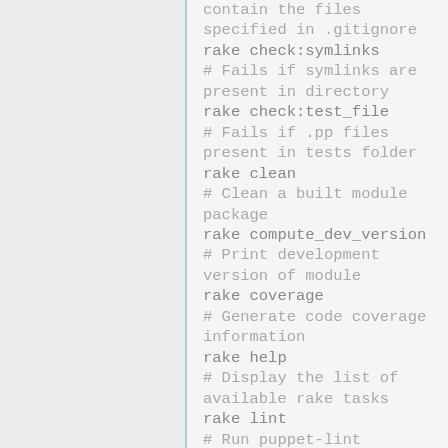contain the files specified in .gitignore
rake check:symlinks
# Fails if symlinks are present in directory
rake check:test_file
# Fails if .pp files present in tests folder
rake clean
# Clean a built module package
rake compute_dev_version
# Print development version of module
rake coverage
# Generate code coverage information
rake help
# Display the list of available rake tasks
rake lint
# Run puppet-lint
rake release_checks
# Runs all nessesary checks on a module in